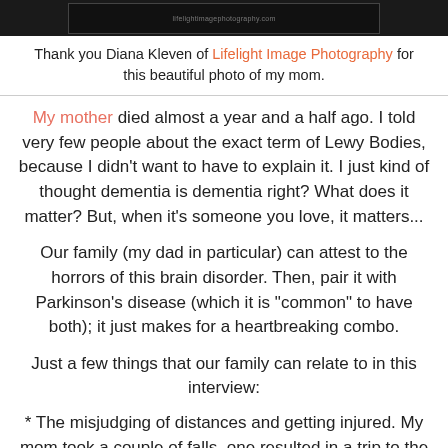[Figure (photo): Dark photo strip at top of page showing a website or image with text, partially visible]
Thank you Diana Kleven of Lifelight Image Photography for this beautiful photo of my mom.
My mother died almost a year and a half ago. I told very few people about the exact term of Lewy Bodies, because I didn't want to have to explain it. I just kind of thought dementia is dementia right? What does it matter? But, when it's someone you love, it matters...
Our family (my dad in particular) can attest to the horrors of this brain disorder. Then, pair it with Parkinson's disease (which it is "common" to have both); it just makes for a heartbreaking combo.
Just a few things that our family can relate to in this interview:
* The misjudging of distances and getting injured. My mom took a couple of falls, one resulted in a trip to the ER.
* The extreme fear and paranoia. I remember when my mom